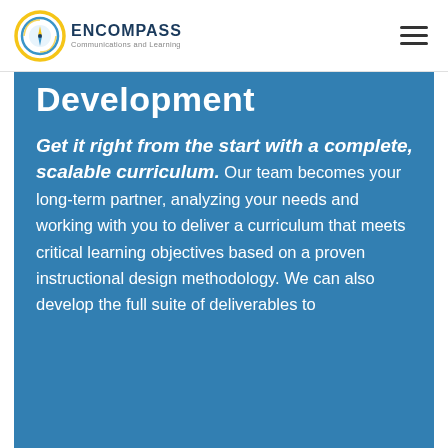[Figure (logo): Encompass Communications and Learning logo with compass icon and company name]
Development
Get it right from the start with a complete, scalable curriculum. Our team becomes your long-term partner, analyzing your needs and working with you to deliver a curriculum that meets critical learning objectives based on a proven instructional design methodology. We can also develop the full suite of deliverables to